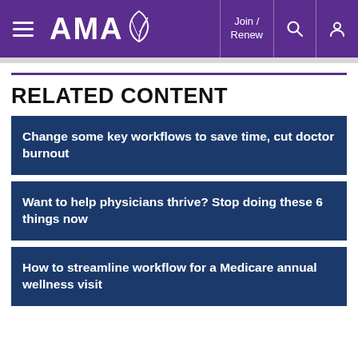AMA — Join / Renew
RELATED CONTENT
Change some key workflows to save time, cut doctor burnout
Want to help physicians thrive? Stop doing these 6 things now
How to streamline workflow for a Medicare annual wellness visit